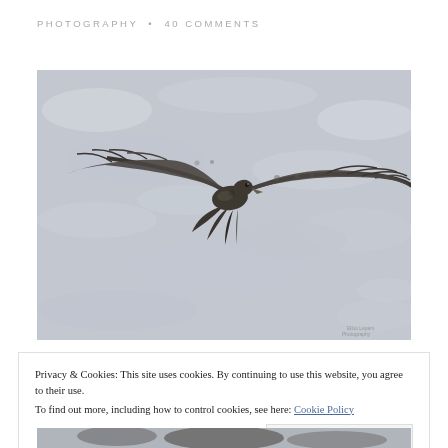PHOTOGRAPHY  •  40 COMMENTS
[Figure (photo): A seagull or large bird in flight with wings spread wide, photographed against a blurred grey water background. The bird is dark/brown mottled plumage, shot from above/side angle.]
Privacy & Cookies: This site uses cookies. By continuing to use this website, you agree to their use.
To find out more, including how to control cookies, see here: Cookie Policy
Close and accept
[Figure (photo): Partial view of another bird photograph at the bottom of the page, cropped.]